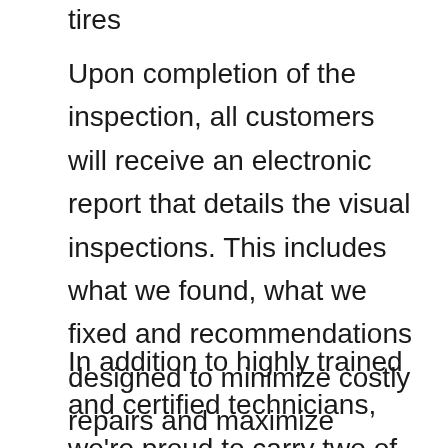tires
Upon completion of the inspection, all customers will receive an electronic report that details the visual inspections. This includes what we found, what we fixed and recommendations designed to minimize costly repairs and maximize uptime.
In addition to highly trained and certified technicians, we’re proud to carry two of the highest quality products in the